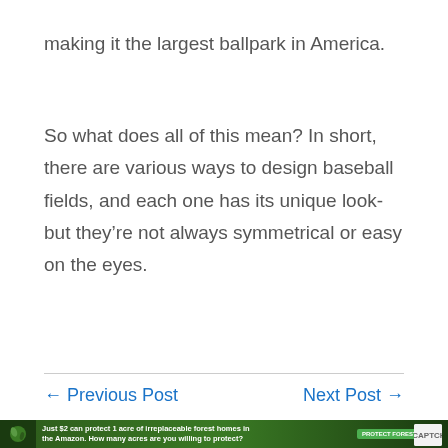making it the largest ballpark in America.
So what does all of this mean? In short, there are various ways to design baseball fields, and each one has its unique look-but they're not always symmetrical or easy on the eyes.
← Previous Post
Next Post →
[Figure (other): Video media overlay showing 'No compatible source was found for this media.' with a close button, partially overlapping navigation area]
[Figure (other): Advertisement banner: Just $2 can protect 1 acre of irreplaceable forest homes in the Amazon. How many acres are you willing to protect? PROTECT FORESTS NOW]